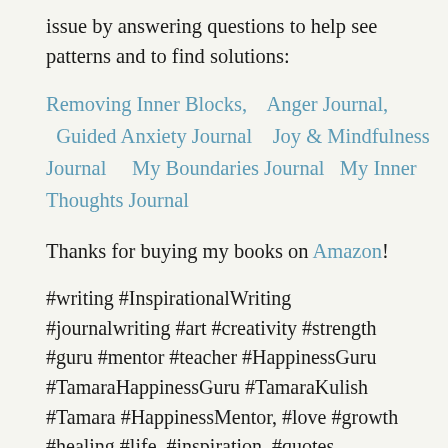issue by answering questions to help see patterns and to find solutions:
Removing Inner Blocks,    Anger Journal,    Guided Anxiety Journal    Joy & Mindfulness Journal      My Boundaries Journal   My Inner Thoughts Journal
Thanks for buying my books on Amazon!
#writing #InspirationalWriting #journalwriting #art #creativity #strength #guru #mentor #teacher #HappinessGuru #TamaraHappinessGuru #TamaraKulish #Tamara #HappinessMentor, #love #growth #healing #life, #inspiration, #quotes #happiness, #joy, #PersonalGrowth, #pain